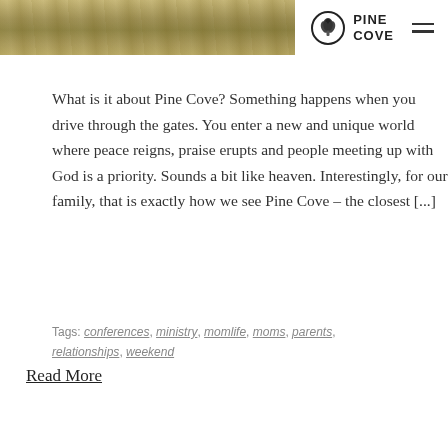Pine Cove
[Figure (photo): Outdoor grassy/dirt landscape photo cropped at top of page, used as blog post featured image]
What is it about Pine Cove? Something happens when you drive through the gates. You enter a new and unique world where peace reigns, praise erupts and people meeting up with God is a priority. Sounds a bit like heaven. Interestingly, for our family, that is exactly how we see Pine Cove – the closest [...]
Tags: conferences, ministry, momlife, moms, parents, relationships, weekend
Read More
CAMP CULTURE